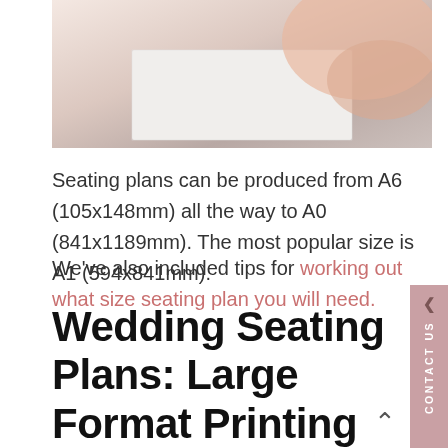[Figure (photo): Partial photo showing a person in a peach/salmon top handling or placing a white rectangular object, cropped at top of page]
Seating plans can be produced from A6 (105x148mm) all the way to A0 (841x1189mm). The most popular size is A1 (594x841mm).
We've also included tips for working out what size seating plan you will need.
Wedding Seating Plans: Large Format Printing Types